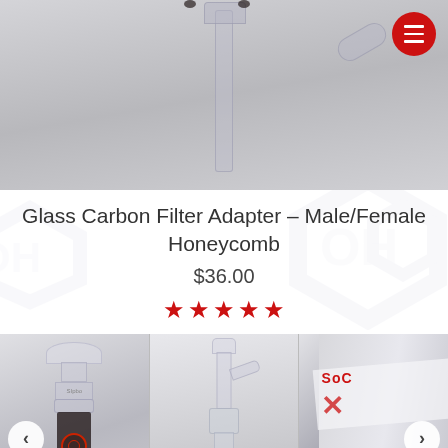[Figure (photo): Top product photo showing a glass carbon filter adapter on a gray background with red circular menu icon in top right]
Glass Carbon Filter Adapter – Male/Female Honeycomb
$36.00
[Figure (other): Five red star rating]
[Figure (photo): Gallery carousel showing three product images: close-up of glass carbon filter adapter, full bong with green liquid, and a close-up of branded glass piece. Navigation arrows on left and right sides.]